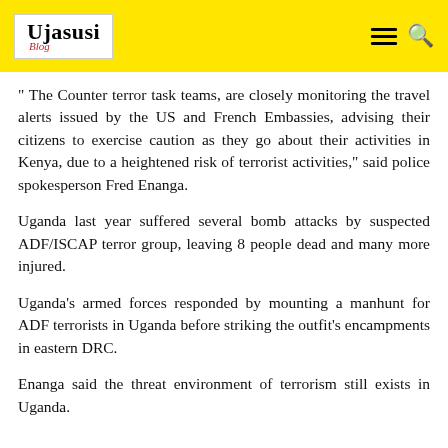Ujasusi Blog
" The Counter terror task teams, are closely monitoring the travel alerts issued by the US and French Embassies, advising their citizens to exercise caution as they go about their activities in Kenya, due to a heightened risk of terrorist activities," said police spokesperson Fred Enanga.
Uganda last year suffered several bomb attacks by suspected ADF/ISCAP terror group, leaving 8 people dead and many more injured.
Uganda's armed forces responded by mounting a manhunt for ADF terrorists in Uganda before striking the outfit's encampments in eastern DRC.
Enanga said the threat environment of terrorism still exists in Uganda.